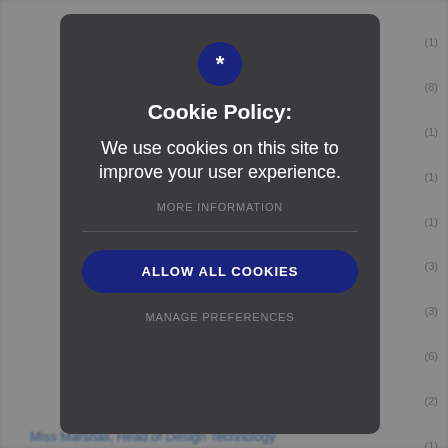[Figure (screenshot): Cookie consent modal dialog over a blurred webpage background. The modal has a dark background with a star icon in a navy circle at top, title 'Cookie Policy:', body text 'We use cookies on this site to improve your user experience.', a 'MORE INFORMATION' link, a horizontal divider, an 'ALLOW ALL COOKIES' button in navy, and a 'MANAGE PREFERENCES' link. On the right edge of the page are numbers (1), (8), (1), (1), (1), (3), (3), (6), (2), (1) in parentheses. At the bottom is partially visible text 'Miss Marshall, Head of Design Technology' in blue.]